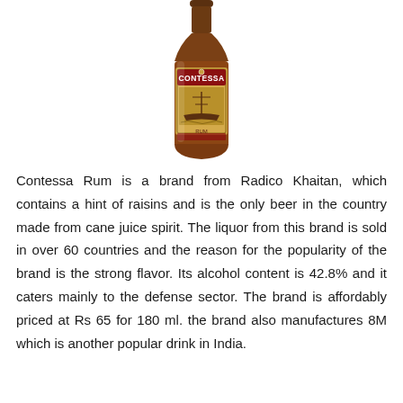[Figure (photo): A bottle of Contessa Rum with a dark brown label featuring the brand name CONTESSA and a sailing ship illustration.]
Contessa Rum is a brand from Radico Khaitan, which contains a hint of raisins and is the only beer in the country made from cane juice spirit. The liquor from this brand is sold in over 60 countries and the reason for the popularity of the brand is the strong flavor. Its alcohol content is 42.8% and it caters mainly to the defense sector. The brand is affordably priced at Rs 65 for 180 ml. the brand also manufactures 8M which is another popular drink in India.